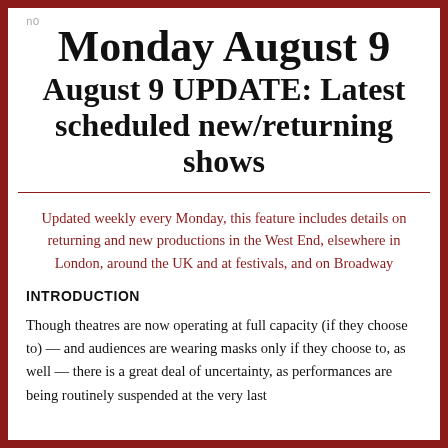nO
Monday August 9
August 9 UPDATE: Latest scheduled new/returning shows
Updated weekly every Monday, this feature includes details on returning and new productions in the West End, elsewhere in London, around the UK and at festivals, and on Broadway
INTRODUCTION
Though theatres are now operating at full capacity (if they choose to) — and audiences are wearing masks only if they choose to, as well — there is a great deal of uncertainty, as performances are being routinely suspended at the very last